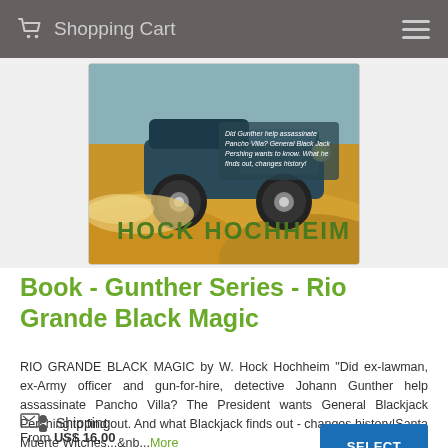Shopping Cart
[Figure (illustration): Book cover for Rio Grande Black Magic by Hock Hochheim showing an old car driving through desert sand with text 'Did Gunther help assassinate Pancho Villa? General Black Jack Pershing wants to know. What he finds out, changes history!' and large bold text 'HOCK HOCHHEIM' at the bottom.]
Book - Gunther Series - Rio Grande Black Magic
RIO GRANDE BLACK MAGIC by W. Hock Hochheim "Did ex-lawman, ex-Army officer and gun-for-hire, detective Johann Gunther help assassinate Pancho Villa? The President wants General Blackjack Pershing to find out. And what Blackjack finds out - changes history!Santa Muerte Witches...&nb...More
Shipping
From US$ 16.00